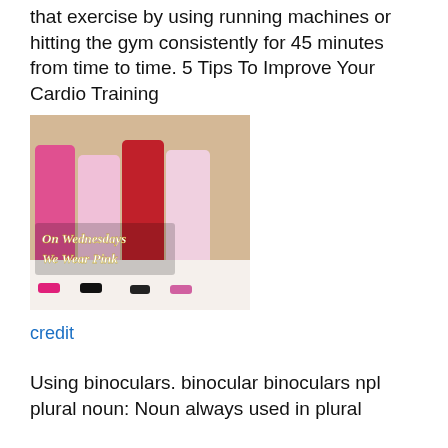that exercise by using running machines or hitting the gym consistently for 45 minutes from time to time. 5 Tips To Improve Your Cardio Training
[Figure (photo): Four women posing together with fingers near their lips, wearing pink and red outfits. Text overlay reads 'On Wednesdays We Wear Pink']
credit
Using binoculars. binocular binoculars npl plural noun: Noun always used in plural